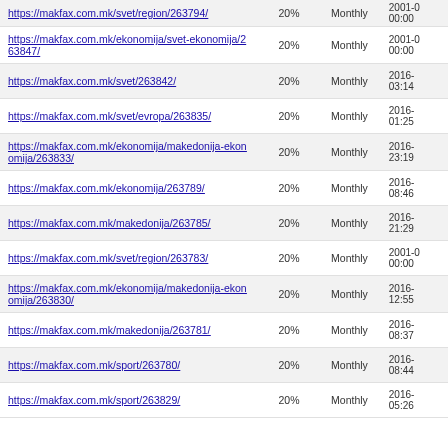| URL | Priority | Change Freq | Last Modified |
| --- | --- | --- | --- |
| https://makfax.com.mk/svet/region/263794/ | 20% | Monthly | 2001-0 00:00 |
| https://makfax.com.mk/ekonomija/svet-ekonomija/263847/ | 20% | Monthly | 2001-0 00:00 |
| https://makfax.com.mk/svet/263842/ | 20% | Monthly | 2016- 03:14 |
| https://makfax.com.mk/svet/evropa/263835/ | 20% | Monthly | 2016- 01:25 |
| https://makfax.com.mk/ekonomija/makedonija-ekonomija/263833/ | 20% | Monthly | 2016- 23:19 |
| https://makfax.com.mk/ekonomija/263789/ | 20% | Monthly | 2016- 08:46 |
| https://makfax.com.mk/makedonija/263785/ | 20% | Monthly | 2016- 21:29 |
| https://makfax.com.mk/svet/region/263783/ | 20% | Monthly | 2001-0 00:00 |
| https://makfax.com.mk/ekonomija/makedonija-ekonomija/263830/ | 20% | Monthly | 2016- 12:55 |
| https://makfax.com.mk/makedonija/263781/ | 20% | Monthly | 2016- 08:37 |
| https://makfax.com.mk/sport/263780/ | 20% | Monthly | 2016- 08:44 |
| https://makfax.com.mk/sport/263829/ | 20% | Monthly | 2016- 05:26 |